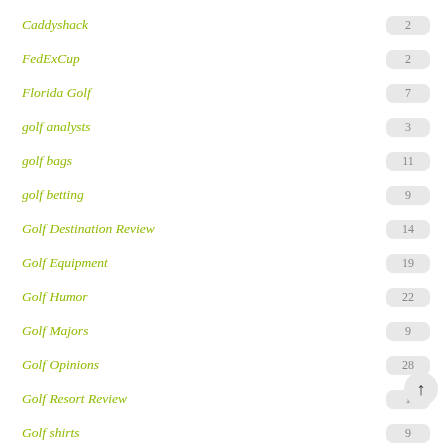Caddyshack
FedExCup
Florida Golf
golf analysts
golf bags
golf betting
Golf Destination Review
Golf Equipment
Golf Humor
Golf Majors
Golf Opinions
Golf Resort Review
Golf shirts
Golf Travel
Golf travel trends
Golf Vacations